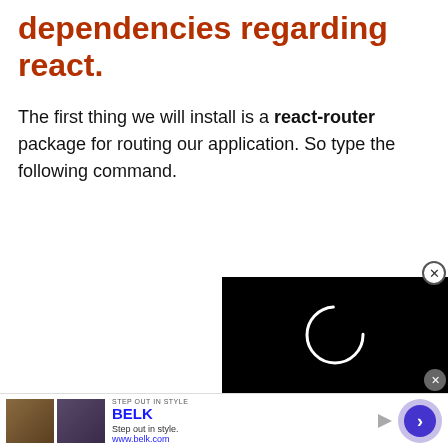dependencies regarding react.
The first thing we will install is a react-router package for routing our application. So type the following command.
[Figure (screenshot): Video player panel showing a black background with a white circular loading spinner arc, with a close (X) button overlay and a smaller grey close button]
[Figure (screenshot): Advertisement banner for BELK: 'STEP OUT IN STYLE' with BELK brand name, two product images, text 'Step out in style.' and 'www.belk.com', with a purple arrow navigation button on the right]